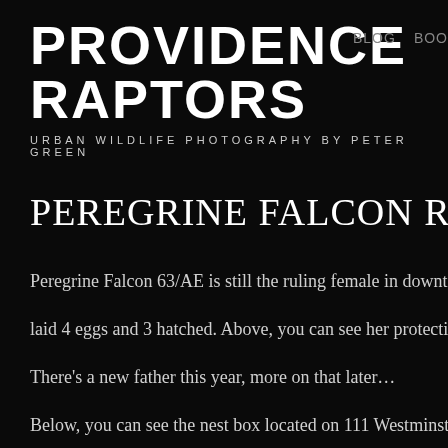PROVIDENCE RAPTORS
URBAN WILDLIFE PHOTOGRAPHY BY PETER GREEN
BLOG BOO
PEREGRINE FALCON RESCUE, RE
Peregrine Falcon 63/AE is still the ruling female in downtown Providen laid 4 eggs and 3 hatched. Above, you can see her protecting the one-d There's a new father this year, more on that later…
Below, you can see the nest box located on 111 Westminster (center of